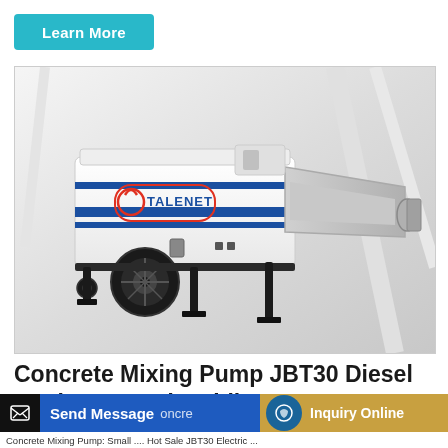Learn More
[Figure (photo): Talenet branded concrete mixing pump JBT30 diesel engine forced mobile unit on wheels with mixing hopper, white body with blue stripes and red Talenet logo, set against a bright white industrial background]
Concrete Mixing Pump JBT30 Diesel Engine Forced Mobile ...
Send Message
Inquiry Online
Concrete Mixing Pump: Small .... Hot Sale JBT30 Electric ...